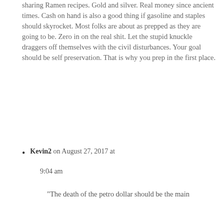sharing Ramen recipes. Gold and silver. Real money since ancient times. Cash on hand is also a good thing if gasoline and staples should skyrocket. Most folks are about as prepped as they are going to be. Zero in on the real shit. Let the stupid knuckle draggers off themselves with the civil disturbances. Your goal should be self preservation. That is why you prep in the first place.
Kevin2 on August 27, 2017 at 9:04 am
“The death of the petro dollar should be the main